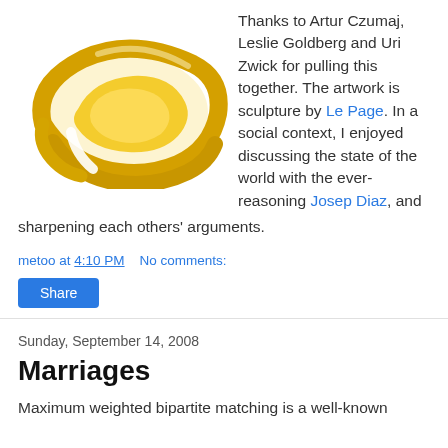[Figure (illustration): A yellow/gold abstract sculpture resembling a stylized flying or curved form, viewed from above on a white background.]
Thanks to Artur Czumaj, Leslie Goldberg and Uri Zwick for pulling this together. The artwork is sculpture by Le Page. In a social context, I enjoyed discussing the state of the world with the ever-reasoning Josep Diaz, and sharpening each others' arguments.
metoo at 4:10 PM   No comments:
Share
Sunday, September 14, 2008
Marriages
Maximum weighted bipartite matching is a well-known